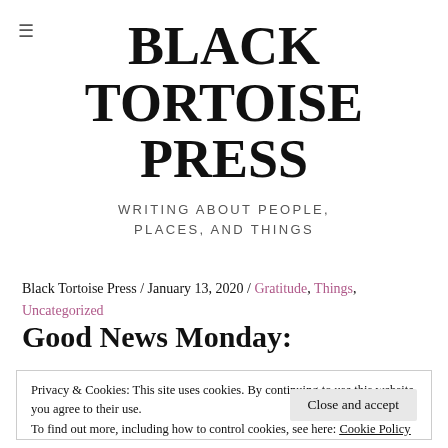≡
BLACK TORTOISE PRESS
WRITING ABOUT PEOPLE, PLACES, AND THINGS
Black Tortoise Press / January 13, 2020 / Gratitude, Things, Uncategorized
Good News Monday:
Privacy & Cookies: This site uses cookies. By continuing to use this website, you agree to their use.
To find out more, including how to control cookies, see here: Cookie Policy
Close and accept